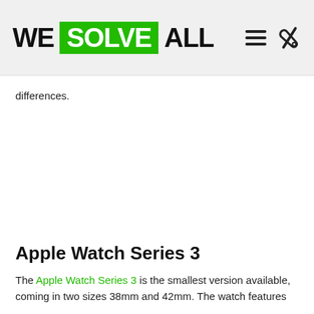WE SOLVE ALL
differences.
Apple Watch Series 3
The Apple Watch Series 3 is the smallest version available, coming in two sizes 38mm and 42mm. The watch features